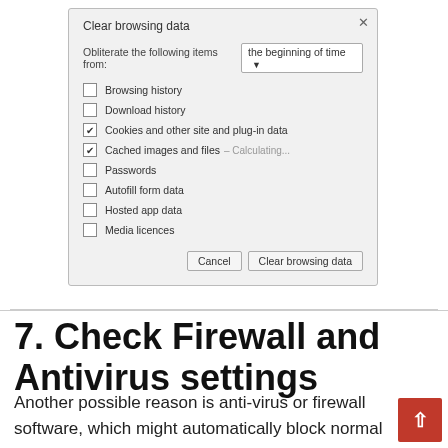[Figure (screenshot): Chrome browser dialog: 'Clear browsing data' with dropdown 'the beginning of time', checkboxes for Browsing history (unchecked), Download history (unchecked), Cookies and other site and plug-in data (checked), Cached images and files – Calculating... (checked), Passwords (unchecked), Autofill form data (unchecked), Hosted app data (unchecked), Media licences (unchecked). Buttons: Cancel, Clear browsing data.]
7. Check Firewall and Antivirus settings
Another possible reason is anti-virus or firewall software, which might automatically block normal system operations and deliver